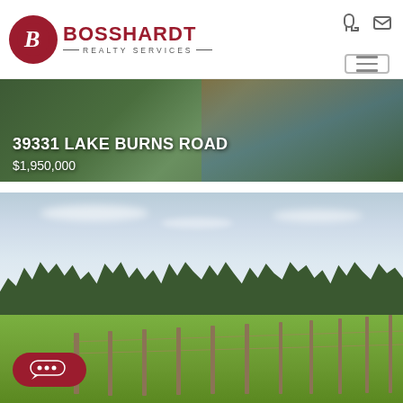[Figure (logo): Bosshardt Realty Services logo with red circle B emblem and brand name]
[Figure (photo): Hero banner showing aerial view of property with pool, overlaid with address and price text: 39331 LAKE BURNS ROAD, $1,950,000]
39331 LAKE BURNS ROAD
$1,950,000
[Figure (photo): Property photo showing open green field with fence posts in foreground, tree line in background, bright sky above]